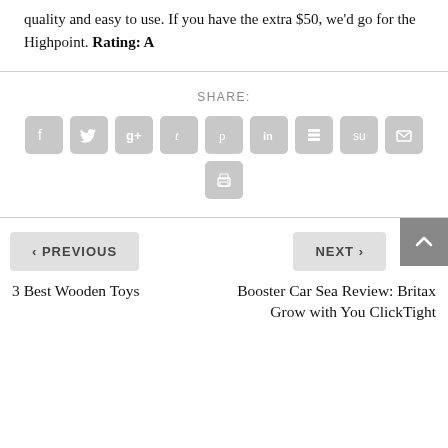quality and easy to use. If you have the extra $50, we'd go for the Highpoint. Rating: A
[Figure (infographic): Social share buttons row: Facebook, Twitter, Google+, Tumblr, Pinterest, LinkedIn, Buffer, StumbleUpon, Email; second row: Print]
< PREVIOUS
NEXT >
3 Best Wooden Toys
Booster Car Sea Review: Britax Grow with You ClickTight